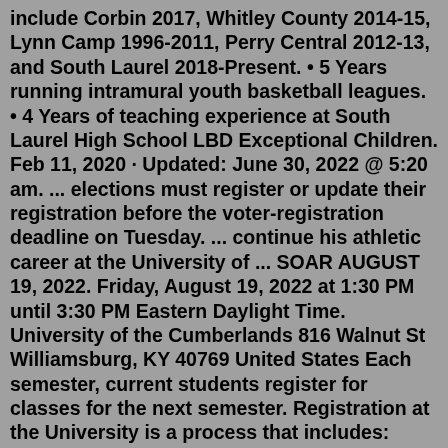include Corbin 2017, Whitley County 2014-15, Lynn Camp 1996-2011, Perry Central 2012-13, and South Laurel 2018-Present. • 5 Years running intramural youth basketball leagues. • 4 Years of teaching experience at South Laurel High School LBD Exceptional Children. Feb 11, 2020 · Updated: June 30, 2022 @ 5:20 am. ... elections must register or update their registration before the voter-registration deadline on Tuesday. ... continue his athletic career at the University of ... SOAR AUGUST 19, 2022. Friday, August 19, 2022 at 1:30 PM until 3:30 PM Eastern Daylight Time. University of the Cumberlands 816 Walnut St Williamsburg, KY 40769 United States Each semester, current students register for classes for the next semester. Registration at the University is a process that includes: Academic advising with a faculty or staff member, which is required for some majors, but optional for others. Registering for classes online.HighScope curriculum. Care. com babysitter and tutor. 2019: Summer camp counselor